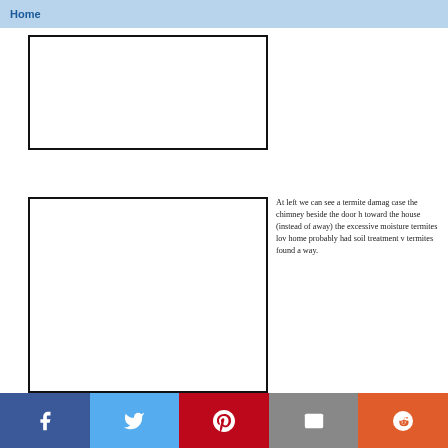Home
[Figure (photo): Top image placeholder box — empty white rectangle with black border]
[Figure (photo): Bottom image placeholder box — empty white rectangle with black border, showing termite damage photo]
At left we can see a termite damage case the chimney beside the door h toward the house (instead of away) the excessive moisture termites lov home probably had soil treatment v termites found a way.